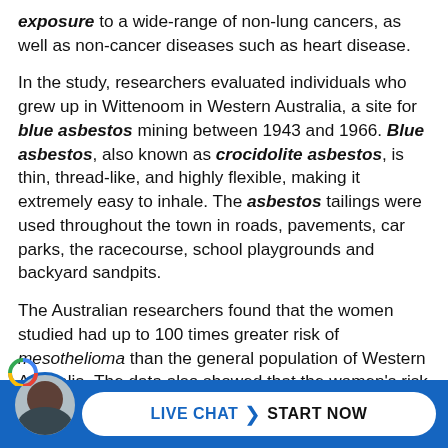exposure to a wide-range of non-lung cancers, as well as non-cancer diseases such as heart disease.
In the study, researchers evaluated individuals who grew up in Wittenoom in Western Australia, a site for blue asbestos mining between 1943 and 1966. Blue asbestos, also known as crocidolite asbestos, is thin, thread-like, and highly flexible, making it extremely easy to inhale. The asbestos tailings were used throughout the town in roads, pavements, car parks, the racecourse, school playgrounds and backyard sandpits.
The Australian researchers found that the women studied had up to 100 times greater risk of mesothelioma than the general population of Western Australia. The data also showed that the women's risk for brain cancer rose to four times as high as the general population and risk for ovarian [cancer] times [as high]. The data showed not as
[Figure (infographic): Live chat call-to-action bar with avatar photo of a man and a white rounded button reading LIVE CHAT > START NOW on a blue background]